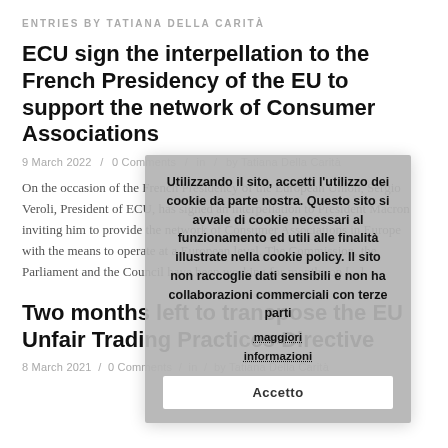ENTRIES BY TATIANA DELLA CARITÀ
ECU sign the interpellation to the French Presidency of the EU to support the network of Consumer Associations
9 March 2022  /  0 Comments  /  in  /  by Tatiana Della Carità
On the occasion of the French Presidency of the European Union, Sergio Veroli, President of ECU, has signed an interpellation to President Macron inviting him to provide the network of Consumer Associations in Europe with the means to operate at a European level. The Commission, the Parliament and the Council have been working for months on [...]
[Figure (other): Cookie consent dialog overlay in Italian: 'Utilizzando il sito, accetti l'utilizzo dei cookie da parte nostra. Questo sito si avvale di cookie necessari al funzionamento ed utili alle finalità illustrate nella cookie policy. Il sito non raccoglie dati sensibili e non ha collaborazioni commerciali con terze parti maggiori informazioni' with an 'Accetto' button.]
Two months left to transpose the EU Unfair Trading Practices Directive
8 March 2021  /  0 Comments  /  in  /  by Tatiana Della Carità